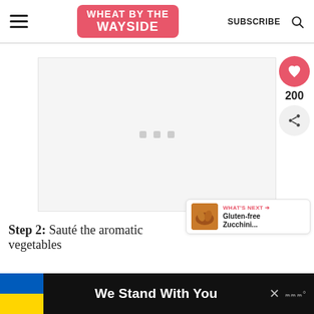Wheat by the Wayside | SUBSCRIBE
[Figure (screenshot): Advertisement placeholder area with loading dots]
[Figure (infographic): Heart/like button (red circle with heart icon) showing count 200, and share button below]
[Figure (infographic): What's next banner showing bread image and text: WHAT'S NEXT → Gluten-free Zucchini...]
Step 2: Sauté the aromatic vegetables
[Figure (infographic): Bottom banner: Ukrainian flag colors on left, 'We Stand With You' text in white on black background, close X button, and Wired logo]